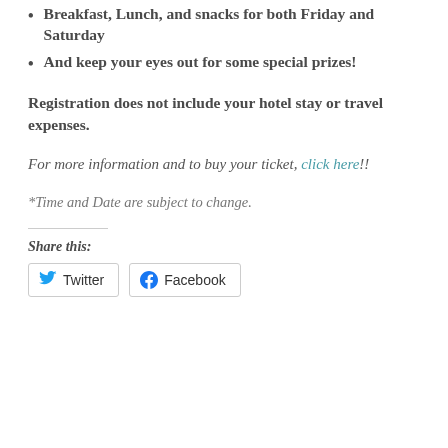Breakfast, Lunch, and snacks for both Friday and Saturday
And keep your eyes out for some special prizes!
Registration does not include your hotel stay or travel expenses.
For more information and to buy your ticket, click here!!
*Time and Date are subject to change.
Share this:
Twitter  Facebook